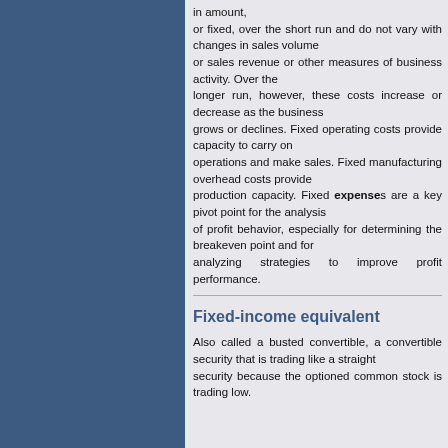in amount, or fixed, over the short run and do not vary with changes in sales volume or sales revenue or other measures of business activity. Over the longer run, however, these costs increase or decrease as the business grows or declines. Fixed operating costs provide capacity to carry on operations and make sales. Fixed manufacturing overhead costs provide production capacity. Fixed expenses are a key pivot point for the analysis of profit behavior, especially for determining the breakeven point and for analyzing strategies to improve profit performance.
Fixed-income equivalent
Also called a busted convertible, a convertible security that is trading like a straight security because the optioned common stock is trading low.